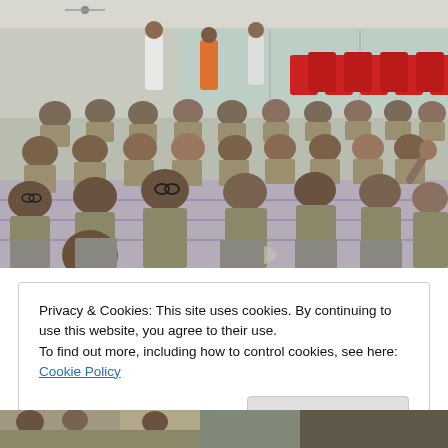[Figure (photo): Students in school uniforms (checkered shirts, grey pants) sitting on the floor in rows in an indoor hall. Red plastic chairs are stacked in the background. Two adults are standing at the back. The students appear to be attending an assembly or event.]
Privacy & Cookies: This site uses cookies. By continuing to use this website, you agree to their use.
To find out more, including how to control cookies, see here: Cookie Policy
Close and accept
[Figure (photo): Partial view of another photo at the bottom of the page, showing students in a similar indoor setting.]